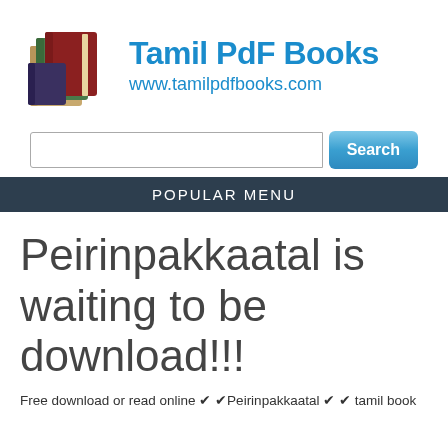[Figure (logo): Stack of colorful books logo for Tamil PDF Books website]
Tamil Pdf Books
www.tamilpdfbooks.com
[Figure (screenshot): Search input box and Search button]
POPULAR MENU
Peirinpakkaatal is waiting to be download!!!
Free download or read online ✔ ✔Peirinpakkaatal ✔ ✔ tamil book